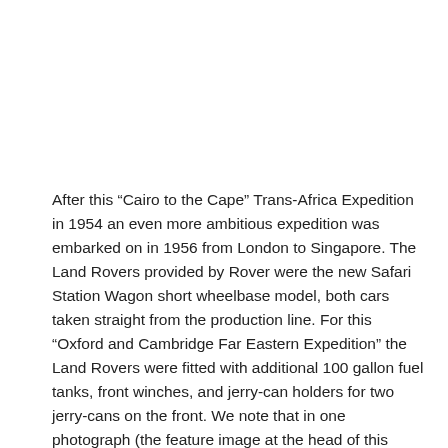After this “Cairo to the Cape” Trans-Africa Expedition in 1954 an even more ambitious expedition was embarked on in 1956 from London to Singapore. The Land Rovers provided by Rover were the new Safari Station Wagon short wheelbase model, both cars taken straight from the production line. For this “Oxford and Cambridge Far Eastern Expedition” the Land Rovers were fitted with additional 100 gallon fuel tanks, front winches, and jerry-can holders for two jerry-cans on the front. We note that in one photograph (the feature image at the head of this post) one jerry can is marked